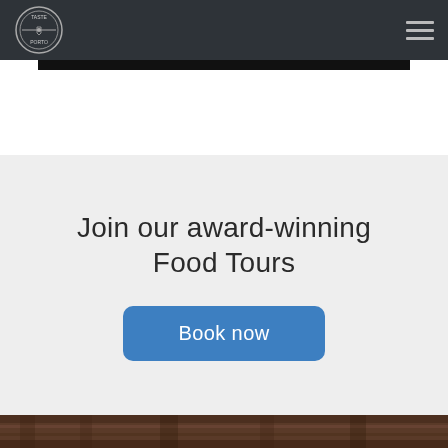Taste Porto – navigation bar with logo and hamburger menu
Join our award-winning Food Tours
Book now
[Figure (photo): Bottom portion of a photo showing what appears to be barrels or wine-related items in a dark brown/rustic setting]